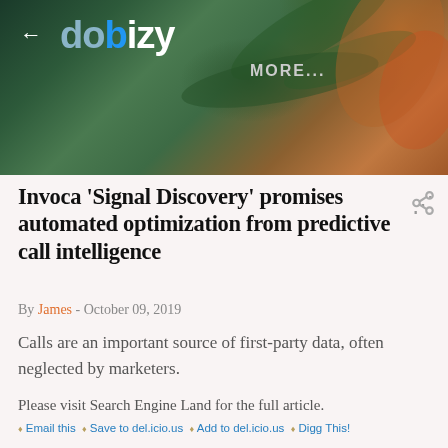[Figure (logo): Dobizy website header banner with tropical leaf background, back arrow, dobizy logo in white and blue, and MORE... text]
Invoca 'Signal Discovery' promises automated optimization from predictive call intelligence
By James - October 09, 2019
Calls are an important source of first-party data, often neglected by marketers.
Please visit Search Engine Land for the full article.
Email this  Save to del.icio.us  Add to del.icio.us  Digg This!
Share on Facebook  Google Bookmark This
Via Search Engine Land: News & Info About SEO, PPC,